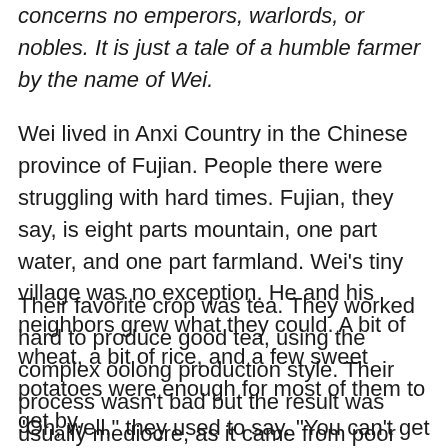concerns no emperors, warlords, or nobles. It is just a tale of a humble farmer by the name of Wei.
Wei lived in Anxi Country in the Chinese province of Fujian. People there were struggling with hard times. Fujian, they say, is eight parts mountain, one part water, and one part farmland. Wei’s tiny village was no exception. He and his neighbors grew what they could. A bit of wheat, a bit of rice, and a few sweet potatoes were enough for most of them to get by.
Their favorite crop was tea. They worked hard to produce good tea, using the complex oolong production style. Their process wasn’t bad but the result was usually mediocre, as it came from poor stock.
“Oh, well,” they used to say. “You can’t get silk from an earthworm.”